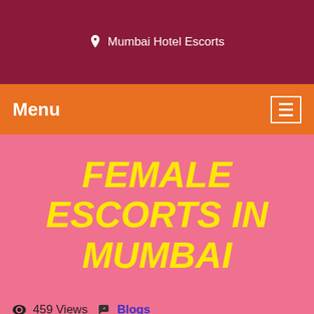Mumbai Hotel Escorts
Menu
FEMALE ESCORTS IN MUMBAI
459 Views  Blogs
Female Escorts in Mumbai |